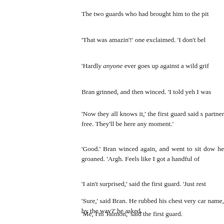The two guards who had brought him to the pit
'That was amazin'!' one exclaimed. 'I don't bel
'Hardly anyone ever goes up against a wild grif
Bran grinned, and then winced. 'I told yeh I was
'Now they all knows it,' the first guard said s partner free. They'll be here any moment.'
'Good.' Bran winced again, and went to sit dow he groaned. 'Argh. Feels like I got a handful of
'I ain't surprised,' said the first guard. 'Just rest
'Sure,' said Bran. He rubbed his chest very car name, by the way?' he asked.
'Me, I'm Talmon,' said the first guard.